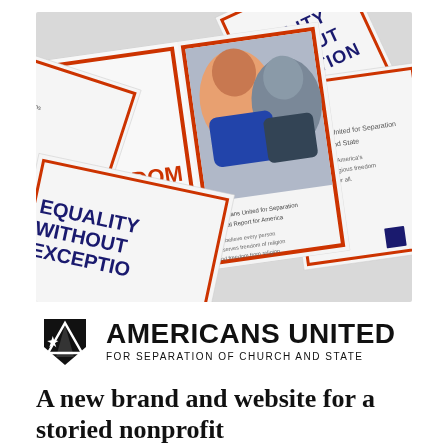[Figure (photo): A styled marketing photo showing multiple brochures fanned out, displaying bold orange and dark navy text reading 'FREEDOM WITHOUT FAVOR' and 'EQUALITY WITHOUT EXCEPTION', with a photo of a smiling couple (older man and woman) visible on one brochure. The brochures have a clean white background with orange geometric border accents and an Americans United logo.]
[Figure (logo): Americans United for Separation of Church and State logo: a black shield/triangle icon with a star, beside bold text 'AMERICANS UNITED' and smaller text 'FOR SEPARATION OF CHURCH AND STATE']
A new brand and website for a storied nonprofit